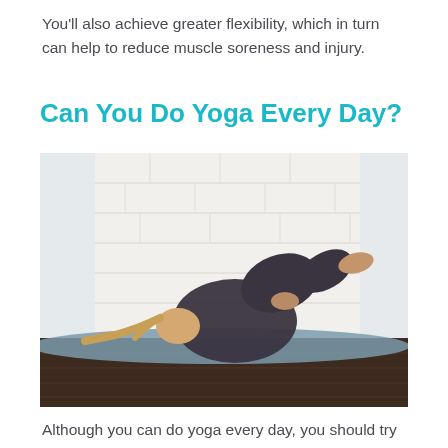You'll also achieve greater flexibility, which in turn can help to reduce muscle soreness and injury.
Can You Do Yoga Every Day?
[Figure (photo): A woman in dark athletic wear lying on a yoga mat on a wooden floor, in a supine position hugging her knees to her chest, with a white brick wall background.]
Although you can do yoga every day, you should try